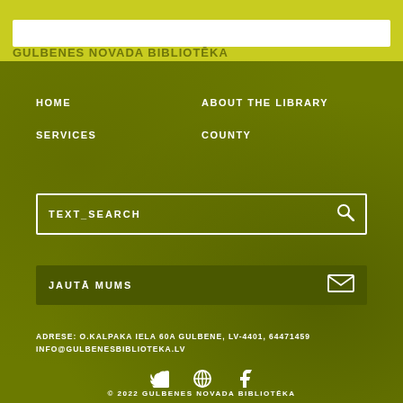GULBENES NOVADA BIBLIOTĒKA
HOME
ABOUT THE LIBRARY
SERVICES
COUNTY
TEXT_SEARCH
JAUTĀ MUMS
ADRESE: O.KALPAKA IELA 60A GULBENE, LV-4401, 64471459
INFO@GULBENESBIBLIOTEKA.LV
© 2022 GULBENES NOVADA BIBLIOTĒKA